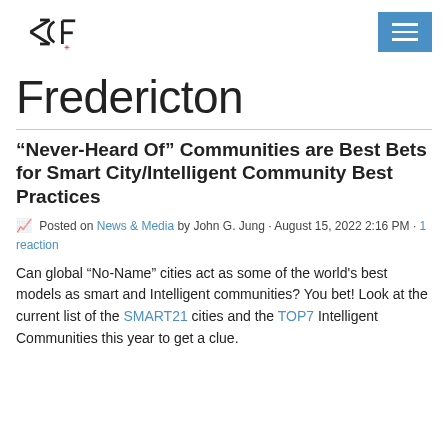ICF logo and navigation menu
Fredericton
“Never-Heard Of” Communities are Best Bets for Smart City/Intelligent Community Best Practices
Posted on News & Media by John G. Jung · August 15, 2022 2:16 PM · 1 reaction
Can global “No-Name” cities act as some of the world's best models as smart and Intelligent communities? You bet! Look at the current list of the SMART21 cities and the TOP7 Intelligent Communities this year to get a clue.